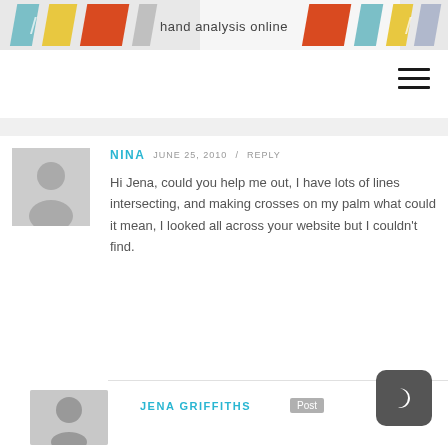[Figure (illustration): Colorful striped banner header with text 'hand analysis online' in the center, featuring colored diagonal stripes in teal, yellow, red, blue, and orange]
≡ (hamburger menu icon)
NINA  JUNE 25, 2010 / REPLY
Hi Jena, could you help me out, I have lots of lines intersecting, and making crosses on my palm what could it mean, I looked all across your website but I couldn't find.
JENA GRIFFITHS  Post